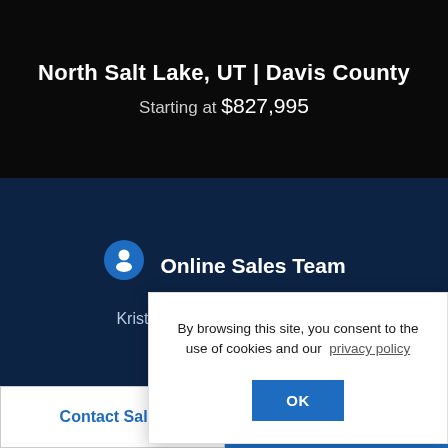North Salt Lake, UT | Davis County
Starting at $827,995
Online Sales Team
Kristine Smith & Kelly Graham
800-289-8655
By browsing this site, you consent to the use of cookies and our privacy policy
OK
Contact Sales
Schedule A Tour